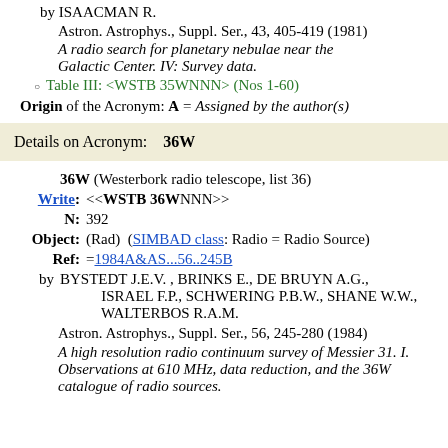by ISAACMAN R.
Astron. Astrophys., Suppl. Ser., 43, 405-419 (1981)
A radio search for planetary nebulae near the Galactic Center. IV: Survey data.
Table III: <WSTB 35WNNN> (Nos 1-60)
Origin of the Acronym: A = Assigned by the author(s)
Details on Acronym:   36W
36W (Westerbork radio telescope, list 36)
Write:  <<WSTB 36WNNN>>
N:  392
Object:  (Rad)  (SIMBAD class: Radio = Radio Source)
Ref:  =1984A&AS...56..245B
by BYSTEDT J.E.V. , BRINKS E., DE BRUYN A.G., ISRAEL F.P., SCHWERING P.B.W., SHANE W.W., WALTERBOS R.A.M.
Astron. Astrophys., Suppl. Ser., 56, 245-280 (1984)
A high resolution radio continuum survey of Messier 31. I. Observations at 610 MHz, data reduction, and the 36W catalogue of radio sources.